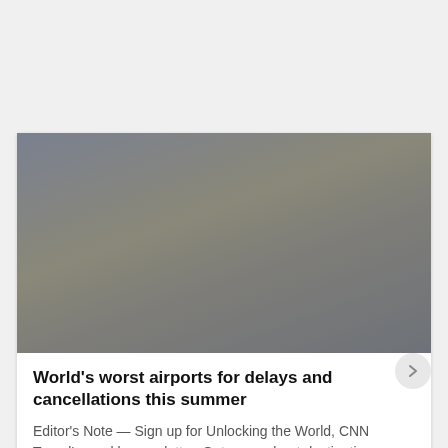[Figure (photo): A blurred hazy outdoor photo with muted grey-brown tones, likely an airport or overcast sky scene]
World's worst airports for delays and cancellations this summer
Editor's Note — Sign up for Unlocking the World, CNN Travel's weekly newsletter. Get news about destinations